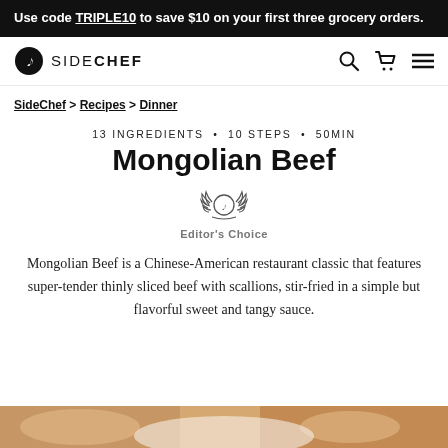Use code TRIPLE10 to save $10 on your first three grocery orders.
[Figure (logo): SideChef logo — circular icon with musical note and SIDECHEF wordmark in uppercase]
SideChef > Recipes > Dinner
13 INGREDIENTS • 10 STEPS • 50MIN
Mongolian Beef
[Figure (illustration): Editor's Choice badge — circular emblem with laurel wreath and SideChef icon]
Editor's Choice
Mongolian Beef is a Chinese-American restaurant classic that features super-tender thinly sliced beef with scallions, stir-fried in a simple but flavorful sweet and tangy sauce.
[Figure (photo): Partial food photograph at bottom of page showing Mongolian Beef dish]